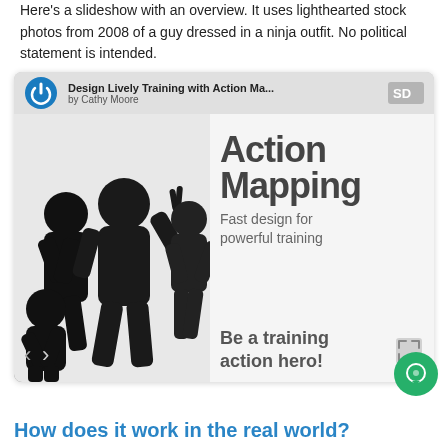Here's a slideshow with an overview. It uses lighthearted stock photos from 2008 of a guy dressed in a ninja outfit. No political statement is intended.
[Figure (screenshot): Embedded SlideShare slideshow titled 'Design Lively Training with Action Ma...' by Cathy Moore. Shows ninjas in black outfits on left side, and text on right side reading 'Action Mapping — Fast design for powerful training — Be a training action hero!']
How does it work in the real world?